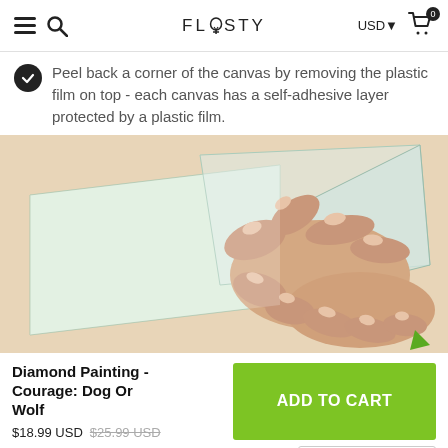FLOSTY — USD 0
Peel back a corner of the canvas by removing the plastic film on top - each canvas has a self-adhesive layer protected by a plastic film.
[Figure (illustration): Illustrated hands peeling back a corner of a canvas, revealing the self-adhesive layer beneath a plastic film. The image shows fingers gripping and lifting a transparent plastic layer off a light-colored canvas or board.]
Diamond Painting - Courage: Dog Or Wolf
$18.99 USD $25.99 USD
ADD TO CART
English